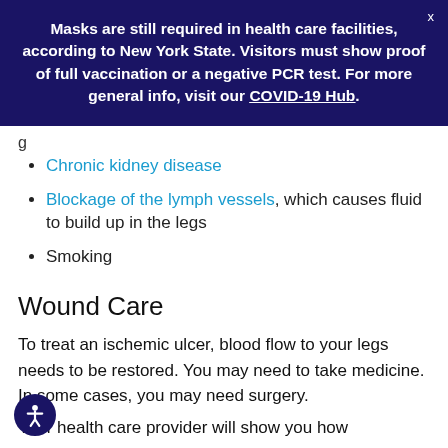Masks are still required in health care facilities, according to New York State. Visitors must show proof of full vaccination or a negative PCR test. For more general info, visit our COVID-19 Hub.
Chronic kidney disease
Blockage of the lymph vessels, which causes fluid to build up in the legs
Smoking
Wound Care
To treat an ischemic ulcer, blood flow to your legs needs to be restored. You may need to take medicine. In some cases, you may need surgery.
Your health care provider will show you how